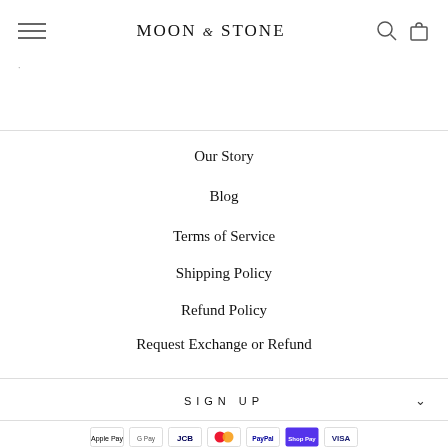MOON & STONE
Our Story
Blog
Terms of Service
Shipping Policy
Refund Policy
Request Exchange or Refund
SIGN UP
[Figure (other): Payment method icons: Apple Pay, Google Pay, JCB, Mastercard, PayPal, Shop Pay, and another payment method]